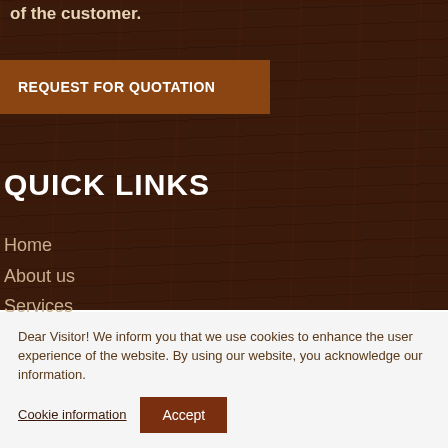of the customer.
REQUEST FOR QUOTATION
QUICK LINKS
Home
About us
Services
Dear Visitor! We inform you that we use cookies to enhance the user experience of the website. By using our website, you acknowledge our information.
Cookie information
Accept